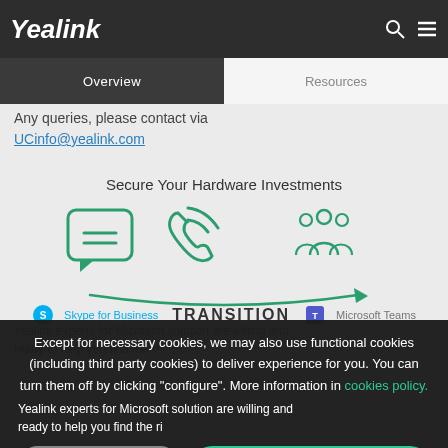[Figure (logo): Yealink logo in white italic text on dark background navigation bar with search and hamburger menu icons]
Overview | Resources
Any queries, please contact via UCinfo@yealink.com
Secure Your Hardware Investments
[Figure (infographic): Three green icons: chat bubble, phone with signal, and group of people with arrows, showing transition from Skype for Business to Microsoft Teams labeled TRANSITION]
Except for necessary cookies, we may also use functional cookies (including third party cookies) to deliver experience for you. You can turn them off by clicking "configure". More information in cookies policy.
Yealink experts for Microsoft solution are willing and ready to help you find the ri...